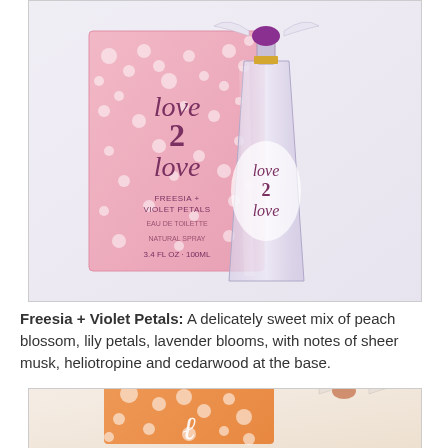[Figure (photo): Love 2 Love Freesia + Violet Petals perfume product shot showing a pink floral box packaging and a lavender/clear glass bottle with a bird-shaped cap, labeled 'love 2 love', 3.4 FL OZ 100ML, Eau de Toilette]
Freesia + Violet Petals: A delicately sweet mix of peach blossom, lily petals, lavender blooms, with notes of sheer musk, heliotropine and cedarwood at the base.
[Figure (photo): Love 2 Love perfume product shot showing an orange/peach floral box packaging with a glass bottle with a bird-shaped cap, partially visible at bottom of page]